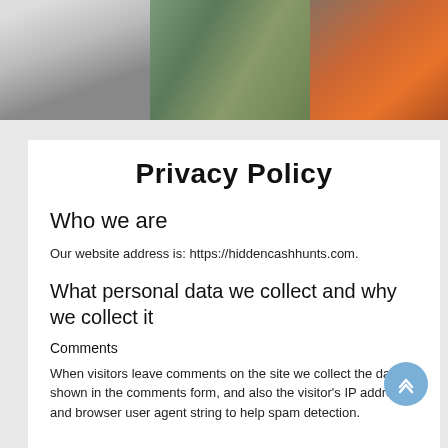[Figure (photo): Header photo strip showing three segments: a person in white clothing, a street mural/graffiti scene, and an orange/red chair or furniture piece.]
Privacy Policy
Who we are
Our website address is: https://hiddencashhunts.com.
What personal data we collect and why we collect it
Comments
When visitors leave comments on the site we collect the data shown in the comments form, and also the visitor's IP address and browser user agent string to help spam detection.